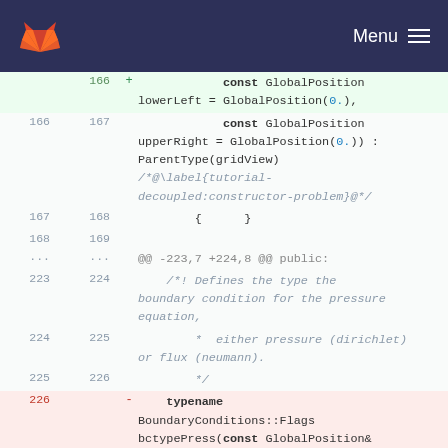GitLab logo | Menu
Code diff showing lines 166-226 of a C++ source file with changes to GlobalPosition parameters and boundary condition comments.
| old_line | new_line | marker | code |
| --- | --- | --- | --- |
|  | 166 | + | const GlobalPosition lowerLeft = GlobalPosition(0.), |
| 166 | 167 |  | const GlobalPosition upperRight = GlobalPosition(0.)) : ParentType(gridView) /*@\label{tutorial-decoupled:constructor-problem}@*/ |
| 167 | 168 |  | {    } |
| 168 | 169 |  |  |
| ... | ... |  | @@ -223,7 +224,8 @@ public: |
| 223 | 224 |  | /*! Defines the type the boundary condition for the pressure equation, |
| 224 | 225 |  | * either pressure (dirichlet) or flux (neumann). |
| 225 | 226 |  | */ |
| 226 |  | - | typename BoundaryConditions::Flags bctypePress(const GlobalPosition& |